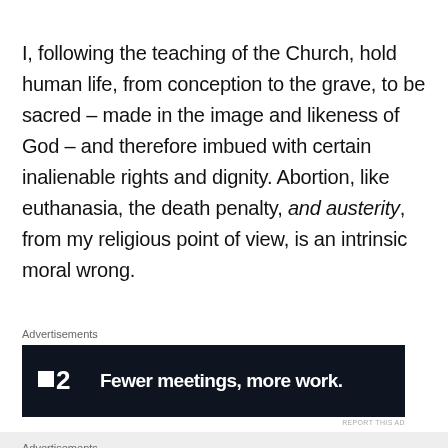I, following the teaching of the Church, hold human life, from conception to the grave, to be sacred – made in the image and likeness of God – and therefore imbued with certain inalienable rights and dignity. Abortion, like euthanasia, the death penalty, and austerity, from my religious point of view, is an intrinsic moral wrong.
Advertisements
[Figure (other): Advertisement banner for Twist2 app: dark background with logo and tagline 'Fewer meetings, more work.']
REPORT THIS AD
Advertisements
REPORT THIS AD